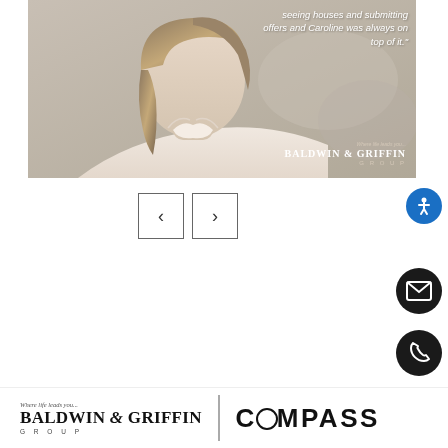[Figure (photo): Portrait photo of a woman in a light blouse with a quote overlay reading 'seeing houses and submitting offers and Caroline was always on top of it.' and the Baldwin & Griffin Group branding in the bottom right corner.]
[Figure (other): Navigation carousel controls with left and right arrow buttons]
[Figure (other): Accessibility button (blue circle with person icon)]
[Figure (other): Email contact button (black circle with envelope icon)]
[Figure (other): Phone contact button (black circle with phone icon)]
[Figure (logo): Footer with Baldwin & Griffin Group logo on the left and Compass logo on the right, separated by a vertical divider]